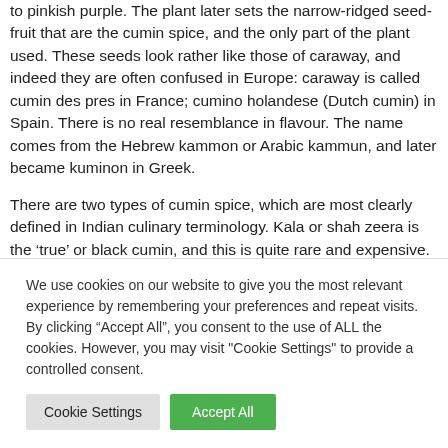to pinkish purple. The plant later sets the narrow-ridged seed-fruit that are the cumin spice, and the only part of the plant used. These seeds look rather like those of caraway, and indeed they are often confused in Europe: caraway is called cumin des pres in France; cumino holandese (Dutch cumin) in Spain. There is no real resemblance in flavour. The name comes from the Hebrew kammon or Arabic kammun, and later became kuminon in Greek.
There are two types of cumin spice, which are most clearly defined in Indian culinary terminology. Kala or shah zeera is the ‘true’ or black cumin, and this is quite rare and expensive.
We use cookies on our website to give you the most relevant experience by remembering your preferences and repeat visits. By clicking “Accept All”, you consent to the use of ALL the cookies. However, you may visit "Cookie Settings" to provide a controlled consent.